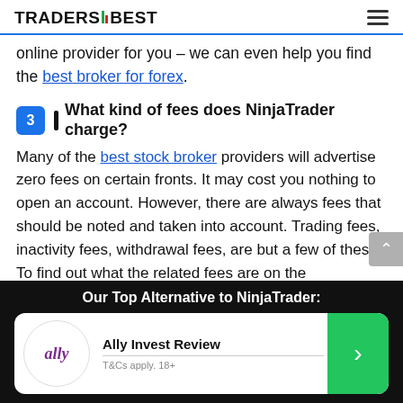TRADERS BEST
online provider for you – we can even help you find the best broker for forex.
3  What kind of fees does NinjaTrader charge?
Many of the best stock broker providers will advertise zero fees on certain fronts. It may cost you nothing to open an account. However, there are always fees that should be noted and taken into account. Trading fees, inactivity fees, withdrawal fees, are but a few of these. To find out what the related fees are on the NinjaTrader
Our Top Alternative to NinjaTrader:
Ally Invest Review
T&Cs apply. 18+